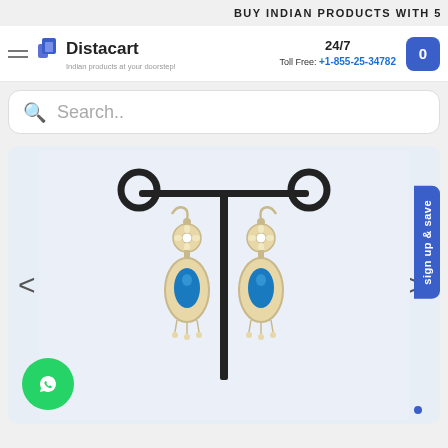BUY INDIAN PRODUCTS WITH 5
[Figure (logo): Distacart logo with shopping bag icon and tagline 'Indian products at your doorstep!']
24/7 Toll Free: +1-855-25-34782
0 (cart)
Search..
[Figure (photo): A pair of gold-toned dangling earrings with blue teardrop gemstones and white floral accents, displayed on a black earring stand]
sign up & save